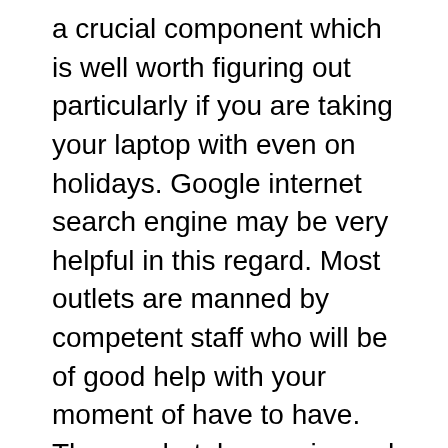a crucial component which is well worth figuring out particularly if you are taking your laptop with even on holidays. Google internet search engine may be very helpful in this regard. Most outlets are manned by competent staff who will be of good help with your moment of have to have. They undertake repairs and routine maintenance on any problem possible. If you have to get your machine checked out, it can be crucial that you've got a tough notion of the costs of that particular Pc keep. This may assist in preventing embarrassments and inconveniences.
It is additionally essential to take into account that not all fix Employment can be done on internet site. This is because a